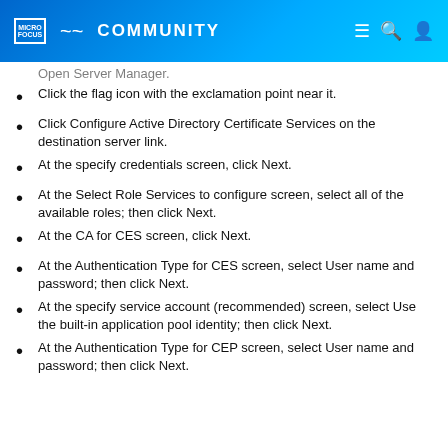Micro Focus Community
Open Server Manager.
Click the flag icon with the exclamation point near it.
Click Configure Active Directory Certificate Services on the destination server link.
At the specify credentials screen, click Next.
At the Select Role Services to configure screen, select all of the available roles; then click Next.
At the CA for CES screen, click Next.
At the Authentication Type for CES screen, select User name and password; then click Next.
At the specify service account (recommended) screen, select Use the built-in application pool identity; then click Next.
At the Authentication Type for CEP screen, select User name and password; then click Next.